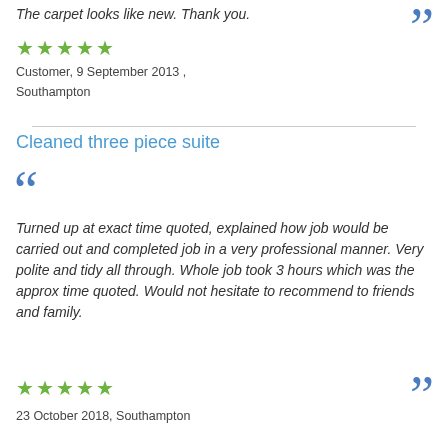The carpet looks like new. Thank you.
★★★★★
Customer, 9 September 2013 ,
Southampton
Cleaned three piece suite
Turned up at exact time quoted, explained how job would be carried out and completed job in a very professional manner. Very polite and tidy all through. Whole job took 3 hours which was the approx time quoted. Would not hesitate to recommend to friends and family.
★★★★★
23 October 2018, Southampton